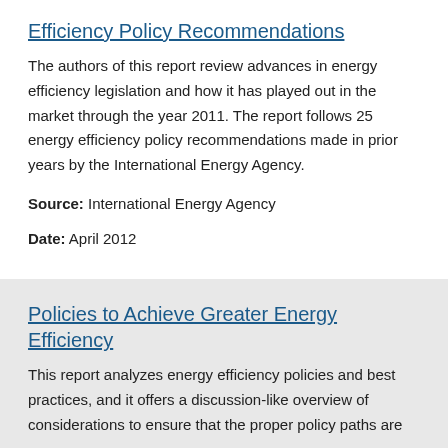Efficiency Policy Recommendations
The authors of this report review advances in energy efficiency legislation and how it has played out in the market through the year 2011. The report follows 25 energy efficiency policy recommendations made in prior years by the International Energy Agency.
Source: International Energy Agency
Date: April 2012
Policies to Achieve Greater Energy Efficiency
This report analyzes energy efficiency policies and best practices, and it offers a discussion-like overview of considerations to ensure that the proper policy paths are